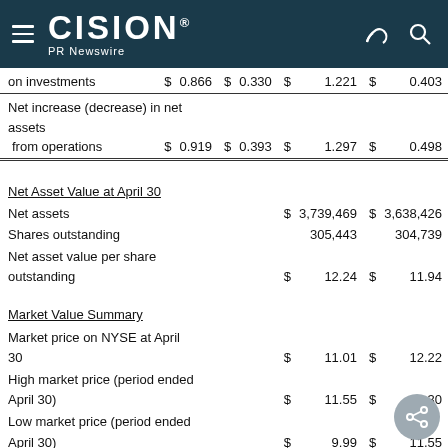CISION PR Newswire
|  | $ |  | $ |  | $ |  | $ |  |
| --- | --- | --- | --- | --- | --- | --- | --- | --- |
| on investments | $ | 0.866 | $ | 0.330 | $ | 1.221 | $ | 0.403 |
| Net increase (decrease) in net assets |  |  |  |  |  |  |  |  |
| from operations | $ | 0.919 | $ | 0.393 | $ | 1.297 | $ | 0.498 |
| Net Asset Value at April 30 |  |  |  |  |  |  |  |  |
| Net assets |  |  |  |  | $ | 3,739,469 | $ | 3,638,426 |
| Shares outstanding |  |  |  |  |  | 305,443 |  | 304,739 |
| Net asset value per share outstanding |  |  |  |  | $ | 12.24 | $ | 11.94 |
| Market Value Summary |  |  |  |  |  |  |  |  |
| Market price on NYSE at April 30 |  |  |  |  | $ | 11.01 | $ | 12.22 |
| High market price (period ended April 30) |  |  |  |  | $ | 11.55 | $ | 13.30 |
| Low market price (period ended April 30) |  |  |  |  | $ | 9.99 | $ | 11.55 |